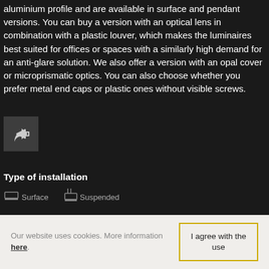aluminium profile and are available in surface and pendant versions. You can buy a version with an optical lens in combination with a plastic louver, which makes the luminaires best suited for offices or spaces with a similarly high demand for an anti-glare solution. We also offer a version with an opal cover or microprismatic optics. You can also choose whether you prefer metal end caps or plastic ones without visible screws.
[Figure (other): Share button icon - dark grey square with a share/forward arrow icon]
Type of installation
[Figure (other): Installation type icons: Surface mount icon and Suspended/pendant icon with labels]
Our website uses cookies. More information here.
I agree with the use